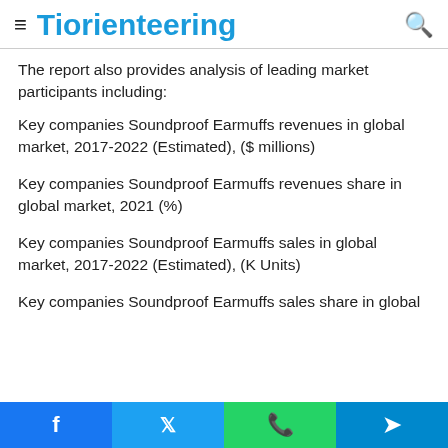Tiorienteering
The report also provides analysis of leading market participants including:
Key companies Soundproof Earmuffs revenues in global market, 2017-2022 (Estimated), ($ millions)
Key companies Soundproof Earmuffs revenues share in global market, 2021 (%)
Key companies Soundproof Earmuffs sales in global market, 2017-2022 (Estimated), (K Units)
Key companies Soundproof Earmuffs sales share in global
Facebook Twitter WhatsApp Telegram